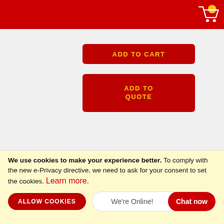ADD TO CART
ADD TO QUOTE
[Figure (infographic): Social media icons: Facebook, Twitter, Instagram, Google+, YouTube, LinkedIn]
Newsletter Sign-up - Get special offers, coupons and new product announcements
We use cookies to make your experience better. To comply with the new e-Privacy directive, we need to ask for your consent to set the cookies. Learn more.
ALLOW COOKIES
We're Online! Chat now